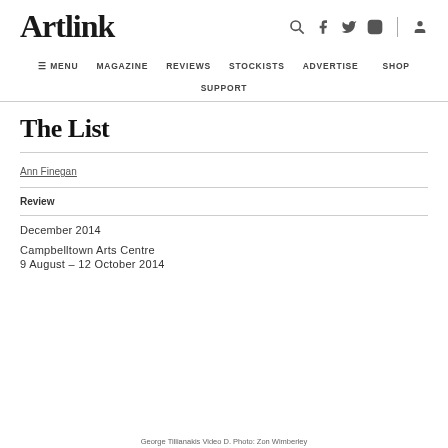Artlink
The List
Ann Finegan
Review
December 2014
Campbelltown Arts Centre
9 August – 12 October 2014
George Tillianakis Video D. Photo: Zon Wimberley